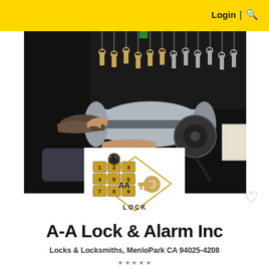Login | 🔍
[Figure (photo): Locksmith using a key cutting machine, with rows of keys hanging in the background on a dark wall display]
[Figure (logo): A-A Lock company logo: keypad with numbers 1-9, a key shape, and text 'AA LOCK' on white background]
A-A Lock & Alarm Inc
Locks & Locksmiths, MenloPark CA 94025-4208